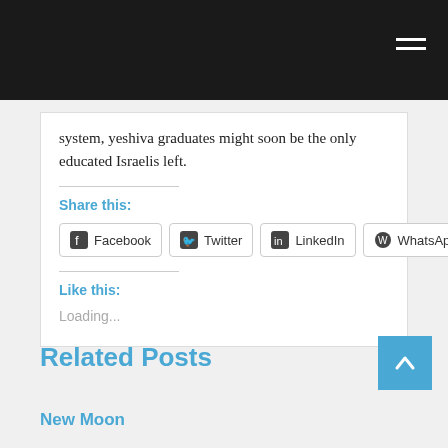system, yeshiva graduates might soon be the only educated Israelis left.
Share this:
[Figure (other): Social share buttons: Facebook, Twitter, LinkedIn, WhatsApp]
Like this:
Loading...
Related Posts
New Moon